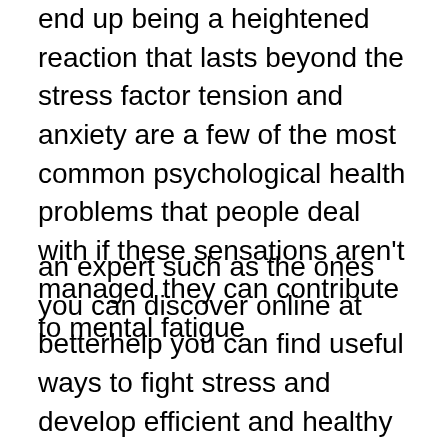end up being a heightened reaction that lasts beyond the stress factor tension and anxiety are a few of the most common psychological health problems that people deal with if these sensations aren't managed they can contribute to mental fatigue
an expert such as the ones you can discover online at betterhelp you can find useful ways to fight stress and develop efficient and healthy coping skills that you can use throughout your life by doing so you can focus on what enriches you and makes you happy the sensations of wanting to flee will not manage your life and rather you'll understand how to cope and deal with the